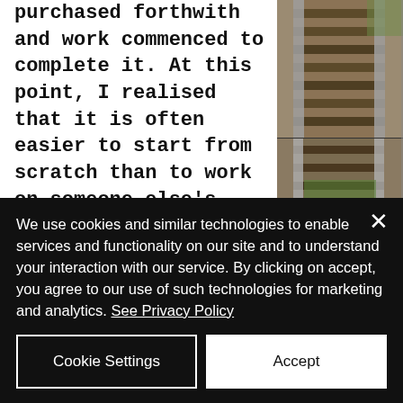purchased forthwith and work commenced to complete it. At this point, I realised that it is often easier to start from scratch than to work on someone else's frustrated project, but nevertheless six months later, it was in steam! No more raised track for me! I was allowed on the ground, on a proper railway with the big boys. This engine was a mechanical disaster area, (not all my fault, I hasten to add), but a brilliant
[Figure (photo): Two photographs of railway tracks stacked vertically — close-up views of steel rails, sleepers, and gravel ballast with green vegetation visible.]
We use cookies and similar technologies to enable services and functionality on our site and to understand your interaction with our service. By clicking on accept, you agree to our use of such technologies for marketing and analytics. See Privacy Policy